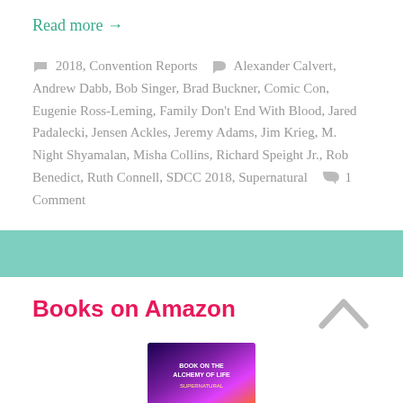Read more →
2018, Convention Reports  Alexander Calvert, Andrew Dabb, Bob Singer, Brad Buckner, Comic Con, Eugenie Ross-Leming, Family Don't End With Blood, Jared Padalecki, Jensen Ackles, Jeremy Adams, Jim Krieg, M. Night Shyamalan, Misha Collins, Richard Speight Jr., Rob Benedict, Ruth Connell, SDCC 2018, Supernatural  1 Comment
Books on Amazon
[Figure (photo): Book cover image at bottom of page]